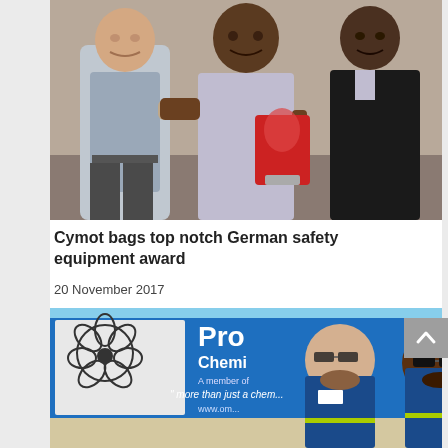[Figure (photo): Three men posing for a photo; the man in the center holds a red trophy/award plaque while shaking hands with the man on the left. All are smiling. Indoor setting with beige wall.]
Cymot bags top notch German safety equipment award
20 November 2017
[Figure (photo): Two men wearing blue work uniforms with yellow reflective strips, standing in front of a blue truck/van with 'Pro Chemi' branding and logo. Text on truck: 'A member of', 'more than just a chem...', 'www.om...' One man wears dark sunglasses, the other wears safety glasses. Outdoor setting.]